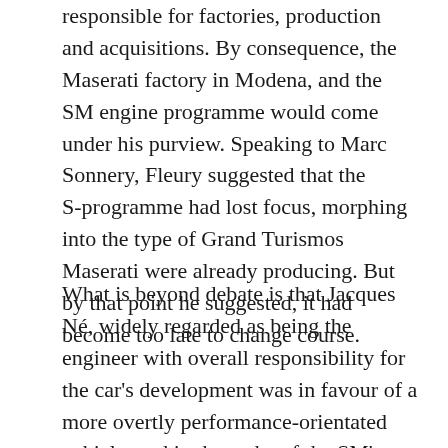responsible for factories, production and acquisitions. By consequence, the Maserati factory in Modena, and the SM engine programme would come under his purview. Speaking to Marc Sonnery, Fleury suggested that the S-programme had lost focus, morphing into the type of Grand Turismos Maserati were already producing. But by that point he suggested, it had become too late to change course.
What is beyond debate is that Jacques Né, widely regarded as being the engineer with overall responsibility for the car's development was in favour of a more overtly performance-orientated vehicle, and in the wake of the SM's launch in 1970, went on to continue the S-Vehicle programme very much in that direction.